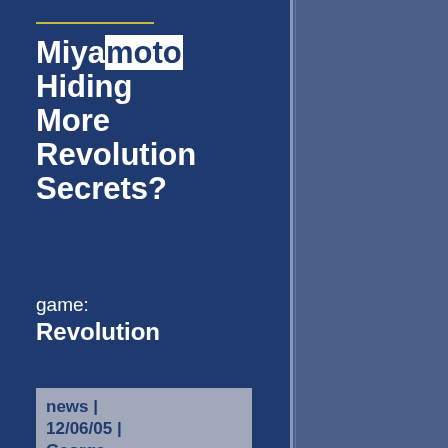Miyamoto Hiding More Revolution Secrets?
game: Revolution
news | 12/06/05 | George Holomshek
At a recent appearance in front of Japan\'s Digital Interactive Entertainment Conference, famed Nintendo game designer